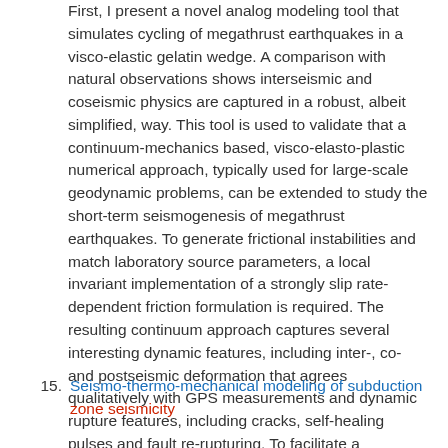First, I present a novel analog modeling tool that simulates cycling of megathrust earthquakes in a visco-elastic gelatin wedge. A comparison with natural observations shows interseismic and coseismic physics are captured in a robust, albeit simplified, way. This tool is used to validate that a continuum-mechanics based, visco-elasto-plastic numerical approach, typically used for large-scale geodynamic problems, can be extended to study the short-term seismogenesis of megathrust earthquakes. To generate frictional instabilities and match laboratory source parameters, a local invariant implementation of a strongly slip rate-dependent friction formulation is required. The resulting continuum approach captures several interesting dynamic features, including inter-, co- and postseismic deformation that agrees qualitatively with GPS measurements and dynamic rupture features, including cracks, self-healing pulses and fault re-rupturing. To facilitate a comparison to natural settings, I consider a more realistic setup of the Southern Chilean margin in terms of geometry and physical processes. Results agree with seismological, geodetic and
15. Seismo-thermo-mechanical modeling of subduction zone seismicity